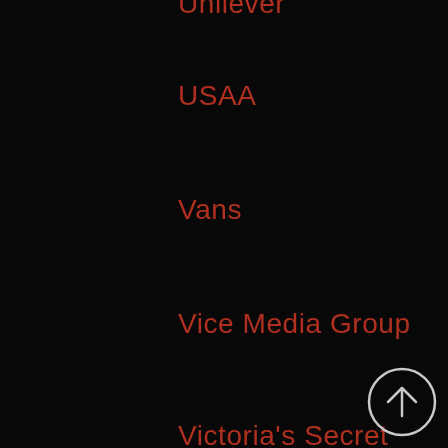Unilever
USAA
Vans
Vice Media Group
Victoria's Secret
Vistaprint
Vox Media
Walmart
Whole Foods
Williams Sonoma
[Figure (illustration): White circle with upward-pointing arrow icon (scroll to top button)]